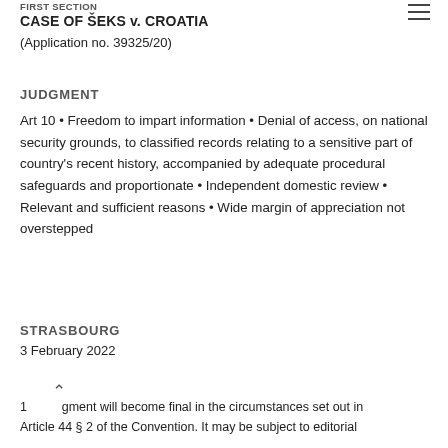FIRST SECTION
CASE OF ŠEKS v. CROATIA
(Application no. 39325/20)
JUDGMENT
Art 10 • Freedom to impart information • Denial of access, on national security grounds, to classified records relating to a sensitive part of country's recent history, accompanied by adequate procedural safeguards and proportionate • Independent domestic review • Relevant and sufficient reasons • Wide margin of appreciation not overstepped
STRASBOURG
3 February 2022
1. This judgment will become final in the circumstances set out in Article 44 § 2 of the Convention. It may be subject to editorial